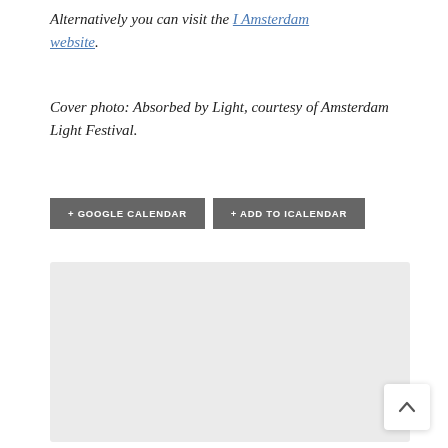Alternatively you can visit the I Amsterdam website.
Cover photo: Absorbed by Light, courtesy of Amsterdam Light Festival.
+ GOOGLE CALENDAR   + ADD TO ICALENDAR
[Figure (other): Light grey rectangular map placeholder area]